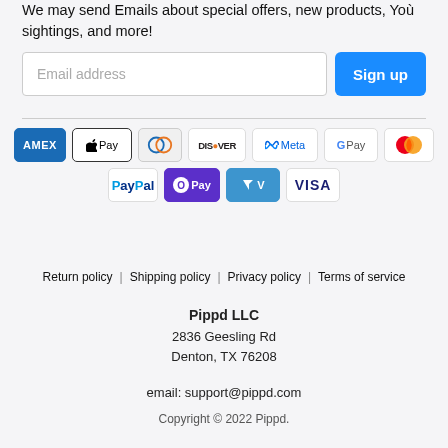We may send Emails about special offers, new products, Yoù sightings, and more!
[Figure (infographic): Email signup form with text input labeled 'Email address' and a blue 'Sign up' button]
[Figure (infographic): Row of payment method logos: AMEX, Apple Pay, Diners Club, Discover, Meta, Google Pay, Mastercard, PayPal, OPay, Venmo, VISA]
Return policy | Shipping policy | Privacy policy | Terms of service
Pippd LLC
2836 Geesling Rd
Denton, TX 76208
email: support@pippd.com
Copyright © 2022 Pippd.